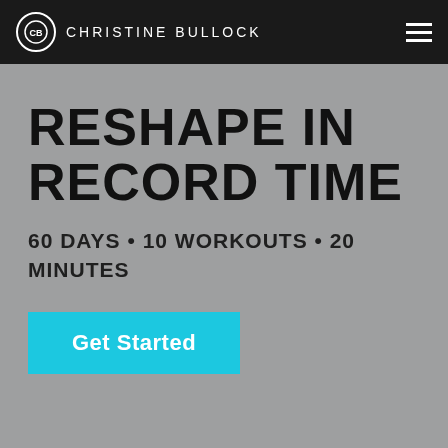CHRISTINE BULLOCK
RESHAPE IN RECORD TIME
60 DAYS • 10 WORKOUTS • 20 MINUTES
Get Started